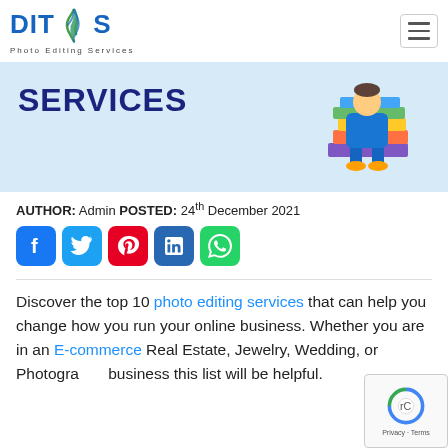DITOS Photo Editing Services
[Figure (illustration): Light blue hero banner with 'SERVICES' text in large dark blue uppercase letters on the left, and an illustrated person sitting on stacked colorful books on the right]
AUTHOR: Admin POSTED: 24th December 2021
[Figure (infographic): Social media sharing icons: Facebook (blue), Twitter (light blue), Pinterest (red), LinkedIn (blue), WhatsApp (green)]
Discover the top 10 photo editing services that can help you change how you run your online business. Whether you are in an E-commerce Real Estate, Jewelry, Wedding, or Photography business this list will be helpful.